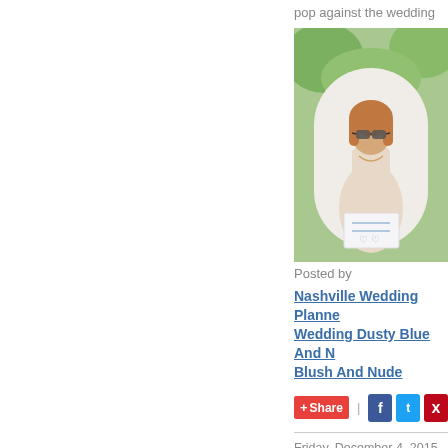pop against the wedding
[Figure (photo): Woman in light pink dress with sunglasses standing outdoors at a wedding]
Posted by
Nashville Wedding Planner Wedding Dusty Blue And N Blush And Nude
Share | [Facebook] [Twitter] [Pinterest]
Friday, December 4, 2015
6 Tips for Entertain
[Figure (photo): Candles lit on a light background]